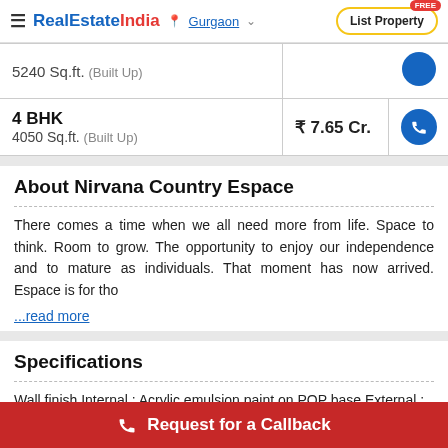RealEstateIndia | Gurgaon | List Property
| Property | Price | Action |
| --- | --- | --- |
| 5240 Sq.ft. (Built Up) |  |  |
| 4 BHK
4050 Sq.ft. (Built Up) | ₹ 7.65 Cr. | call |
About Nirvana Country Espace
There comes a time when we all need more from life. Space to think. Room to grow. The opportunity to enjoy our independence and to mature as individuals. That moment has now arrived. Espace is for tho ...read more
Specifications
Wall finish Internal : Acrylic emulsion paint on POP base External :
Request for a Callback